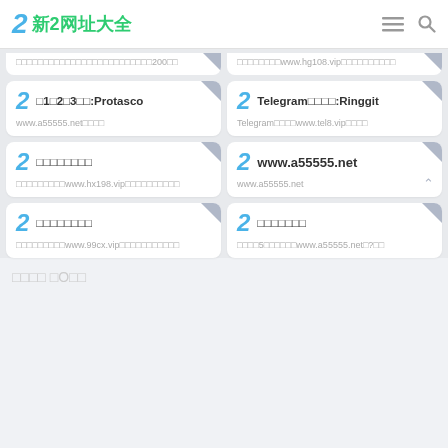2 新2网址大全
（partial card top）200（truncated）
（partial card top）www.hg108.vip（truncated）
□1□2□3□□:Protasco — www.a55555.net□□
Telegram□□□□:Ringgit — Telegram□□□□www.tel8.vip□□□□
□□□□□□□□ — □□□□□□□□□www.hx198.vip□□□□□□□□□
www.a55555.net — www.a55555.net
□□□□□□□□ — □□□□□□□□□www.99cx.vip□□□□□□□□□□
□□□□□□□ — □□□□5□□□□□□www.a55555.net□?□□
□□□□ □O□□